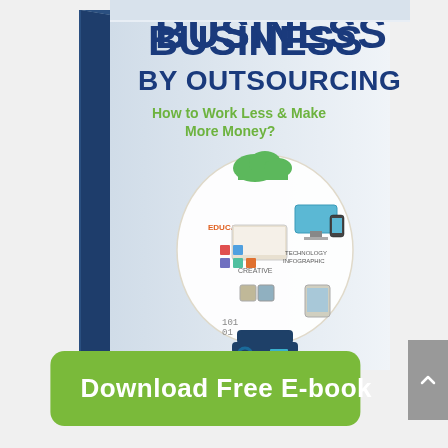[Figure (illustration): A 3D book cover titled 'BUSINESS BY OUTSOURCING: How to Work Less & Make More Money?' featuring a lightbulb filled with technology and education icons, and the Outsourcing Insight logo at the bottom.]
Download Free E-book